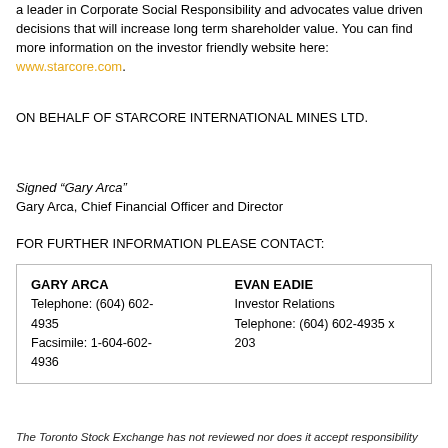a leader in Corporate Social Responsibility and advocates value driven decisions that will increase long term shareholder value. You can find more information on the investor friendly website here: www.starcore.com.
ON BEHALF OF STARCORE INTERNATIONAL MINES LTD.
Signed “Gary Arca”
Gary Arca, Chief Financial Officer and Director
FOR FURTHER INFORMATION PLEASE CONTACT:
| GARY ARCA
Telephone: (604) 602-4935
Facsimile: 1-604-602-4936 | EVAN EADIE
Investor Relations
Telephone: (604) 602-4935 x 203 |
The Toronto Stock Exchange has not reviewed nor does it accept responsibility